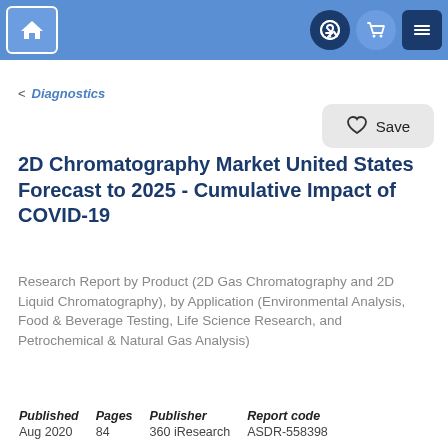Navigation bar with home, login, cart, and menu icons
< Diagnostics
Save
2D Chromatography Market United States Forecast to 2025 - Cumulative Impact of COVID-19
Research Report by Product (2D Gas Chromatography and 2D Liquid Chromatography), by Application (Environmental Analysis, Food & Beverage Testing, Life Science Research, and Petrochemical & Natural Gas Analysis)
| Published | Pages | Publisher | Report code |
| --- | --- | --- | --- |
| Aug 2020 | 84 | 360 iResearch | ASDR-558398 |